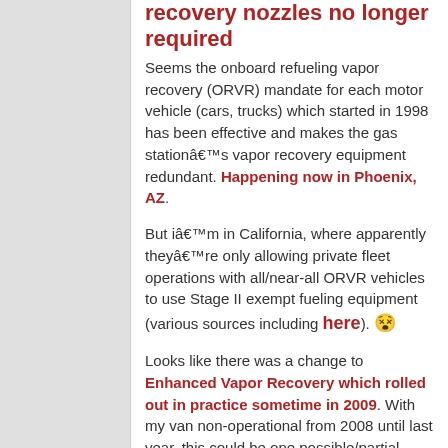recovery nozzles no longer required
Seems the onboard refueling vapor recovery (ORVR) mandate for each motor vehicle (cars, trucks) which started in 1998 has been effective and makes the gas stationâ€™s vapor recovery equipment redundant. Happening now in Phoenix, AZ.
But iâ€™m in California, where apparently theyâ€™re only allowing private fleet operations with all/near-all ORVR vehicles to use Stage II exempt fueling equipment (various sources including here). 😱
Looks like there was a change to Enhanced Vapor Recovery which rolled out in practice sometime in 2009. With my van non-operational from 2008 until last year, this could be one possible/partial explain why i noticed